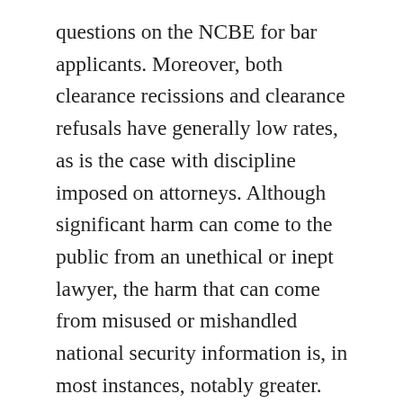questions on the NCBE for bar applicants. Moreover, both clearance recissions and clearance refusals have generally low rates, as is the case with discipline imposed on attorneys. Although significant harm can come to the public from an unethical or inept lawyer, the harm that can come from misused or mishandled national security information is, in most instances, notably greater. This Article concludes that the national security clearance process provides significant guidance towards improving the bar admissions process, including that most of the questions on the NCBE should be limited in temporal scope instead of seeking information within the scope of a candidate's lifetime.